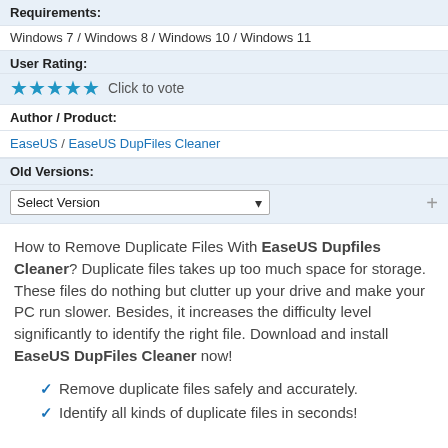Requirements:
Windows 7 / Windows 8 / Windows 10 / Windows 11
User Rating:
★★★★★  Click to vote
Author / Product:
EaseUS / EaseUS DupFiles Cleaner
Old Versions:
Select Version
How to Remove Duplicate Files With EaseUS Dupfiles Cleaner? Duplicate files takes up too much space for storage. These files do nothing but clutter up your drive and make your PC run slower. Besides, it increases the difficulty level significantly to identify the right file. Download and install EaseUS DupFiles Cleaner now!
Remove duplicate files safely and accurately.
Identify all kinds of duplicate files in seconds!